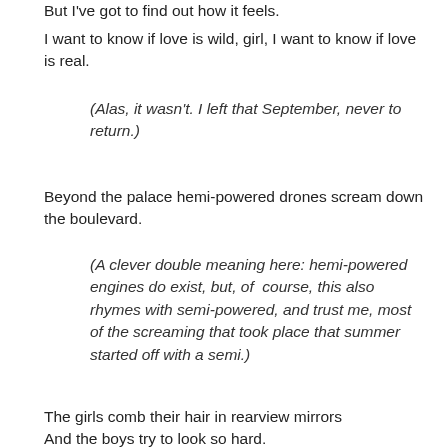But I've got to find out how it feels.
I want to know if love is wild, girl, I want to know if love is real.
(Alas, it wasn't. I left that September, never to return.)
Beyond the palace hemi-powered drones scream down the boulevard.
(A clever double meaning here: hemi-powered engines do exist, but, of course, this also rhymes with semi-powered, and trust me, most of the screaming that took place that summer started off with a semi.)
The girls comb their hair in rearview mirrors
And the boys try to look so hard.